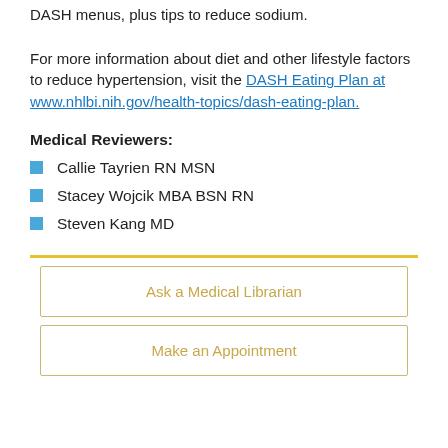DASH menus, plus tips to reduce sodium. For more information about diet and other lifestyle factors to reduce hypertension, visit the DASH Eating Plan at www.nhlbi.nih.gov/health-topics/dash-eating-plan.
Medical Reviewers:
Callie Tayrien RN MSN
Stacey Wojcik MBA BSN RN
Steven Kang MD
Ask a Medical Librarian
Make an Appointment